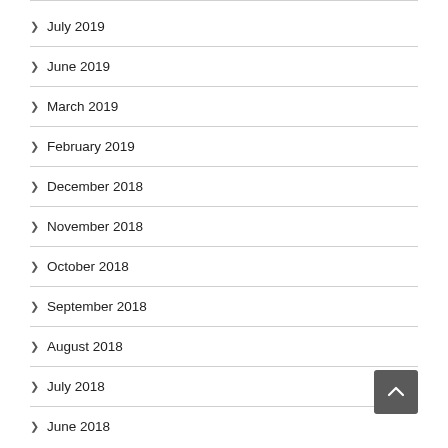July 2019
June 2019
March 2019
February 2019
December 2018
November 2018
October 2018
September 2018
August 2018
July 2018
June 2018